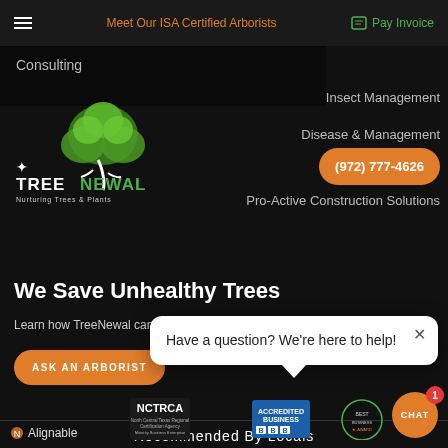Meet Our ISA Certified Arborists | Pay Invoice
Consulting
Insect Management
Disease & Management
Pro-Active Construction Solutions
[Figure (logo): TreeNewal logo - tree with green leaves, white trunk, text TREENEWAL Nurturing Trees & Plants]
(972) 777-4626
We Save Unhealthy Trees
Learn how TreeNewal can h...
ASK AN ARBORIST
Have a question? We're here to help!
Recommended By Locals
[Figure (logo): Alignable logo]
[Figure (logo): NCTRCA - North Central Texas Regional Certification Agency logo]
[Figure (logo): BBB Accredited Business logo]
[Figure (logo): Award badge - Best Business logo]
CHAT - notification badge with number 1